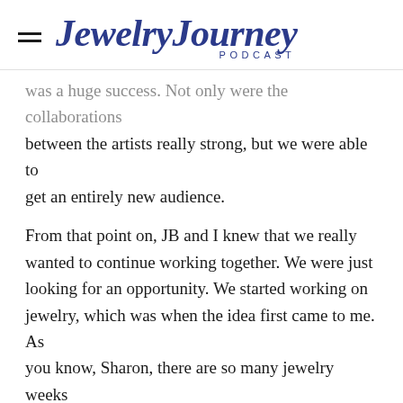Jewelry Journey PODCAST
was a huge success. Not only were the collaborations between the artists really strong, but we were able to get an entirely new audience.
From that point on, JB and I knew that we really wanted to continue working together. We were just looking for an opportunity. We started working on jewelry, which was when the idea first came to me. As you know, Sharon, there are so many jewelry weeks around the world, and as a curator I was fortunate enough to attend jewelry weeks in Paris and Barcelona two years ago. At that point, I just had this